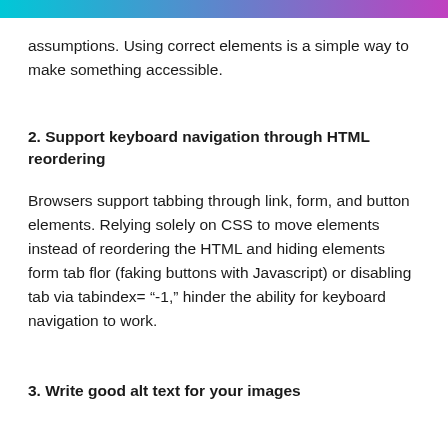assumptions. Using correct elements is a simple way to make something accessible.
2. Support keyboard navigation through HTML reordering
Browsers support tabbing through link, form, and button elements. Relying solely on CSS to move elements instead of reordering the HTML and hiding elements form tab flor (faking buttons with Javascript) or disabling tab via tabindex= “-1,” hinder the ability for keyboard navigation to work.
3. Write good alt text for your images